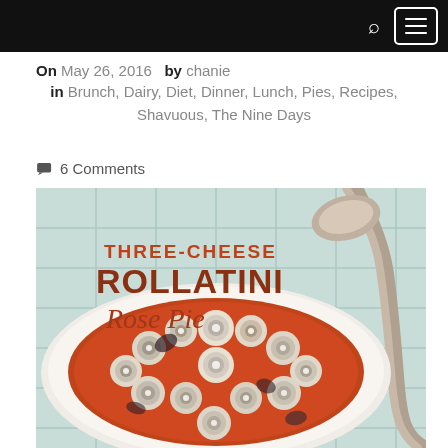Navigation bar with search and menu icons
On May 26, 2016  by chanie
in Brunch, Dairy, Diet, Dinner, Lunch, Pies, Recipes, Shavuous, The Nine Days
6 Comments
[Figure (photo): Three-Cheese Rollatini Rose Pie — overhead photo of a round baking dish filled with rolled eggplant/zucchini slices in tomato sauce, overlaid with text 'THREE-CHEESE ROLLATINI Rose Pie' in orange/brown serif font. A large silver spoon is visible in the upper right.]